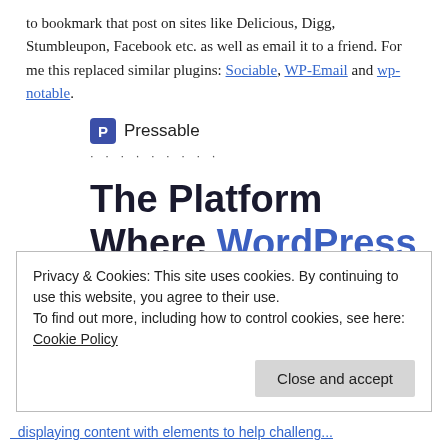to bookmark that post on sites like Delicious, Digg, Stumbleupon, Facebook etc. as well as email it to a friend. For me this replaced similar plugins: Sociable, WP-Email and wp-notable.
[Figure (logo): Pressable logo with blue P icon and dotted separator]
The Platform Where WordPress Works Best
Privacy & Cookies: This site uses cookies. By continuing to use this website, you agree to their use.
To find out more, including how to control cookies, see here: Cookie Policy
Close and accept